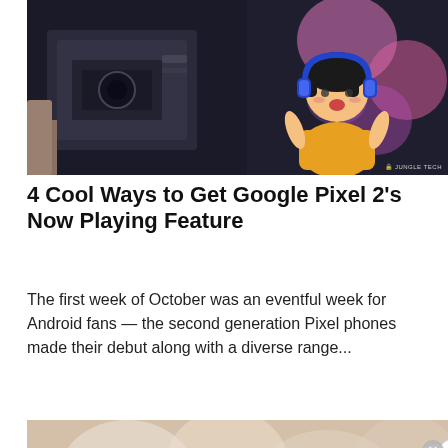[Figure (photo): Dark background photo of electronics/camera equipment on left, anime-style character with headphones on right, colorful bokeh lights]
4 Cool Ways to Get Google Pixel 2's Now Playing Feature
The first week of October was an eventful week for Android fans — the second generation Pixel phones made their debut along with a diverse range...
[Figure (photo): Google Assistant figurine with speech bubble saying 'Hi, How can I help?' next to a Stormtrooper figure, soft bokeh background]